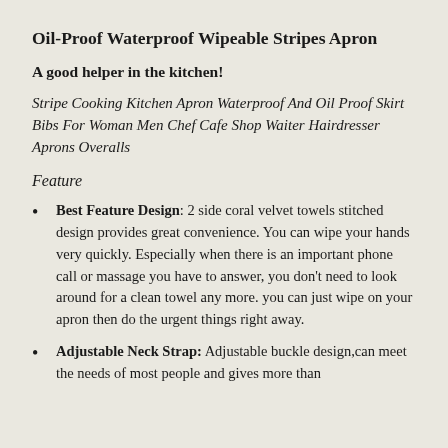Oil-Proof Waterproof Wipeable Stripes Apron
A good helper in the kitchen!
Stripe Cooking Kitchen Apron Waterproof And Oil Proof Skirt Bibs For Woman Men Chef Cafe Shop Waiter Hairdresser Aprons Overalls
Feature
Best Feature Design: 2 side coral velvet towels stitched design provides great convenience. You can wipe your hands very quickly. Especially when there is an important phone call or massage you have to answer, you don't need to look around for a clean towel any more. you can just wipe on your apron then do the urgent things right away.
Adjustable Neck Strap: Adjustable buckle design,can meet the needs of most people and gives more than...